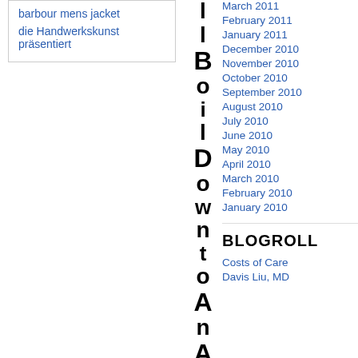barbour mens jacket
die Handwerkskunst präsentiert
March 2011
February 2011
January 2011
December 2010
November 2010
October 2010
September 2010
August 2010
July 2010
June 2010
May 2010
April 2010
March 2010
February 2010
January 2010
BLOGROLL
Costs of Care
Davis Liu, MD